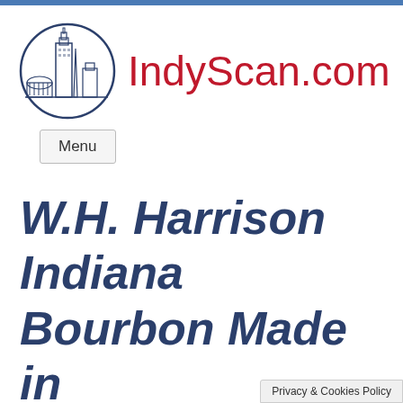[Figure (logo): IndyScan.com website logo: circular emblem showing Indianapolis skyline (Salesforce tower, monuments, dome buildings) in navy blue outline, next to the text IndyScan.com in red]
Menu
W.H. Harrison Indiana Bourbon Made in Indiana
Privacy & Cookies Policy